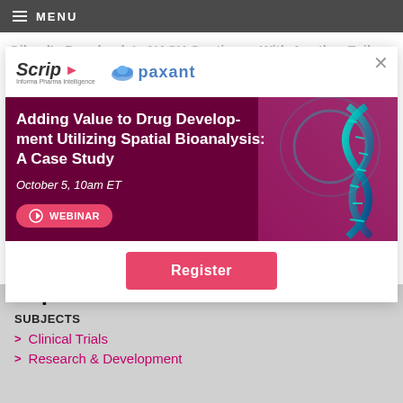MENU
[Figure (screenshot): Webinar advertisement modal overlay for 'Adding Value to Drug Development Utilizing Spatial Bioanalysis: A Case Study' webinar on October 5, 10am ET. Features Scrip and Paxant logos, dark red background with DNA graphic, pink Register button.]
Gilead's Drawback In NASH Continues With Another Failure In...
Intercepts MCA Data Bolster NASH Efficacy, But Status Worries Worsen
Topics
SUBJECTS
Clinical Trials
Research & Development